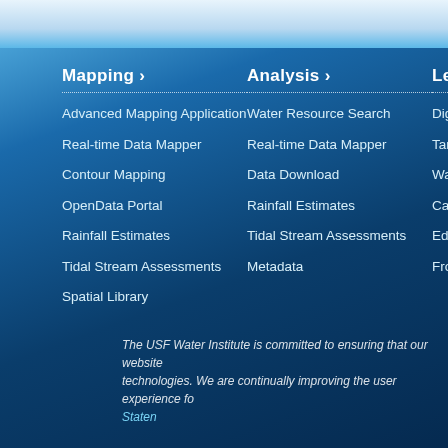Mapping ›
Advanced Mapping Application
Real-time Data Mapper
Contour Mapping
OpenData Portal
Rainfall Estimates
Tidal Stream Assessments
Spatial Library
Analysis ›
Water Resource Search
Real-time Data Mapper
Data Download
Rainfall Estimates
Tidal Stream Assessments
Metadata
Lea…
Digita…
Tamp…
Wate…
Calen…
Educ…
Frog…
The USF Water Institute is committed to ensuring that our website technologies. We are continually improving the user experience fo… Staten…